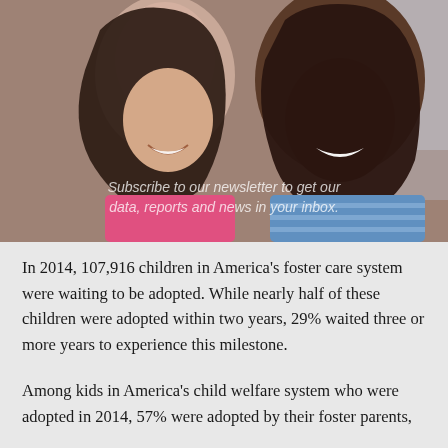[Figure (photo): Two females, one younger with long dark hair wearing a pink shirt and one adult with braided hair wearing a blue striped shirt, laughing together. Overlay text reads: Subscribe to our newsletter to get our data, reports and news in your inbox.]
In 2014, 107,916 children in America's foster care system were waiting to be adopted. While nearly half of these children were adopted within two years, 29% waited three or more years to experience this milestone.
Among kids in America's child welfare system who were adopted in 2014, 57% were adopted by their foster parents,